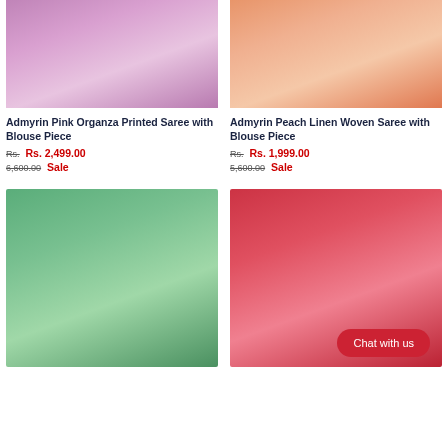[Figure (photo): Woman wearing pink/lavender organza printed saree]
[Figure (photo): Peach linen woven saree displayed on model]
Admyrin Pink Organza Printed Saree with Blouse Piece
Rs. 6,600.00 Rs. 2,499.00 Sale
Admyrin Peach Linen Woven Saree with Blouse Piece
Rs. 5,600.00 Rs. 1,999.00 Sale
[Figure (photo): Woman wearing green saree with embroidery]
[Figure (photo): Woman wearing red/maroon saree on pink background with Chat with us button]